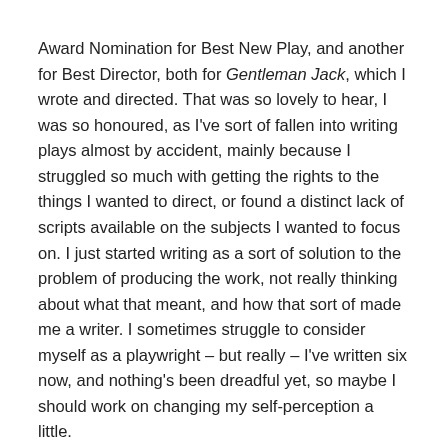Award Nomination for Best New Play, and another for Best Director, both for Gentleman Jack, which I wrote and directed. That was so lovely to hear, I was so honoured, as I've sort of fallen into writing plays almost by accident, mainly because I struggled so much with getting the rights to the things I wanted to direct, or found a distinct lack of scripts available on the subjects I wanted to focus on. I just started writing as a sort of solution to the problem of producing the work, not really thinking about what that meant, and how that sort of made me a writer. I sometimes struggle to consider myself as a playwright – but really – I've written six now, and nothing's been dreadful yet, so maybe I should work on changing my self-perception a little.
In terms of challenges, one of the biggest recently was writing Gentleman Jack and TARO both at the same time in